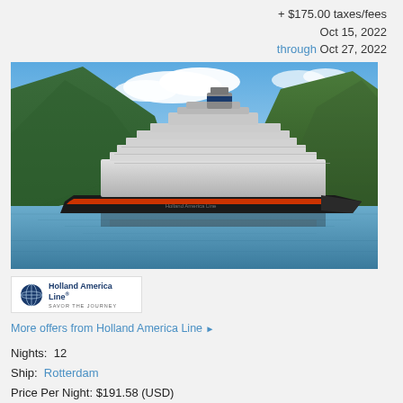+ $175.00 taxes/fees
Oct 15, 2022
through Oct 27, 2022
[Figure (photo): Holland America Line cruise ship Rotterdam sailing through a scenic fjord surrounded by green mountains under a blue sky with clouds]
[Figure (logo): Holland America Line logo with globe icon and tagline SAVOR THE JOURNEY]
More offers from Holland America Line ▶
Nights: 12
Ship: Rotterdam
Price Per Night: $191.58 (USD)